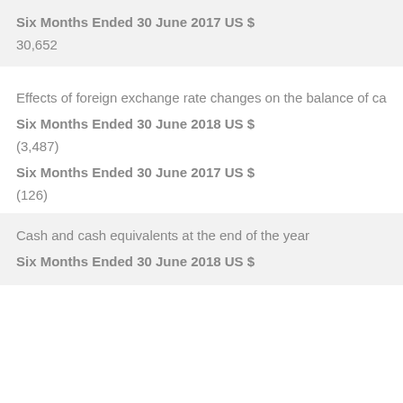| Six Months Ended 30 June 2017 US $ |
| --- |
| 30,652 |
Effects of foreign exchange rate changes on the balance of ca
| Six Months Ended 30 June 2018 US $ | Six Months Ended 30 June 2017 US $ |
| --- | --- |
| (3,487) | (126) |
Cash and cash equivalents at the end of the year
| Six Months Ended 30 June 2018 US $ |
| --- |
|  |